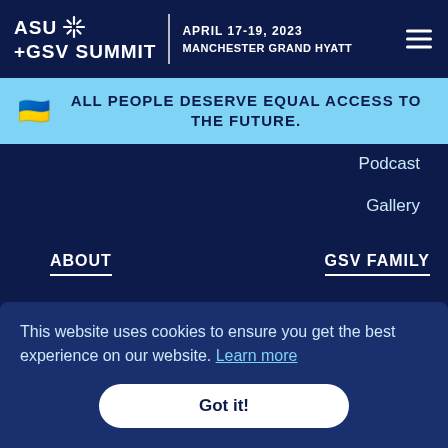ASU +GSV SUMMIT | APRIL 17-19, 2023 | MANCHESTER GRAND HYATT
ALL PEOPLE DESERVE EQUAL ACCESS TO THE FUTURE.
Podcast
Gallery
ABOUT
GSV FAMILY
Sponsor
GSV Ventures
This website uses cookies to ensure you get the best experience on our website. Learn more
Got it!